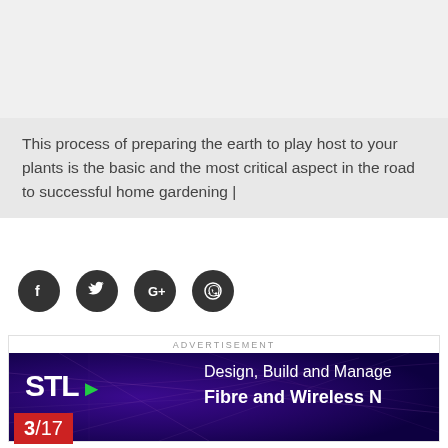[Figure (other): Gray blank area at top of page]
This process of preparing the earth to play host to your plants is the basic and the most critical aspect in the road to successful home gardening |
[Figure (other): Social share icons: Facebook, Twitter, Google+, WhatsApp — dark circular buttons]
[Figure (other): Advertisement banner: STL logo with green arrow, text 'Design, Build and Manage Fibre and Wireless N...' on dark purple/blue background]
3/17